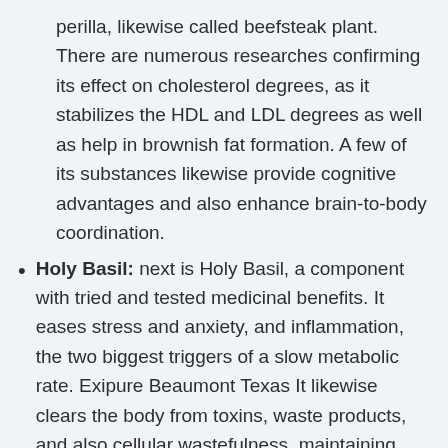perilla, likewise called beefsteak plant. There are numerous researches confirming its effect on cholesterol degrees, as it stabilizes the HDL and LDL degrees as well as help in brownish fat formation. A few of its substances likewise provide cognitive advantages and also enhance brain-to-body coordination.
Holy Basil: next is Holy Basil, a component with tried and tested medicinal benefits. It eases stress and anxiety, and inflammation, the two biggest triggers of a slow metabolic rate. Exipure Beaumont Texas It likewise clears the body from toxins, waste products, and also cellular wastefulness, maintaining suitable metabolic problems for the body.
White Korean Ginseng: Exipure will likewise...